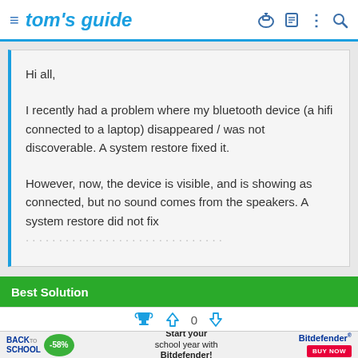tom's guide
Hi all,

I recently had a problem where my bluetooth device (a hifi connected to a laptop) disappeared / was not discoverable. A system restore fixed it.

However, now, the device is visible, and is showing as connected, but no sound comes from the speakers. A system restore did not fix
Best Solution
[Figure (infographic): Advertisement banner: Back to School, -58% discount circle, 'Start your school year with Bitdefender!' text, Bitdefender logo with BUY NOW button]